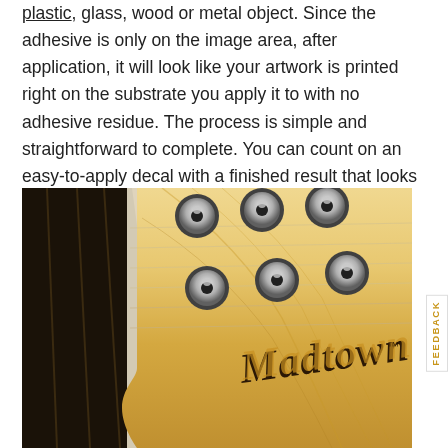plastic, glass, wood or metal object. Since the adhesive is only on the image area, after application, it will look like your artwork is printed right on the substrate you apply it to with no adhesive residue. The process is simple and straightforward to complete. You can count on an easy-to-apply decal with a finished result that looks outstanding.
[Figure (photo): Close-up photo of a Madtown guitar headstock showing tuning pegs and the Madtown brand name/logo, placed on a wooden surface]